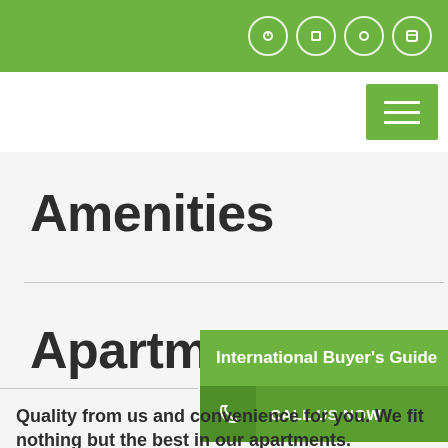[Figure (screenshot): Green top navigation bar with four circular icon buttons (social/info icons) on the right side]
[Figure (screenshot): White navigation row with green hamburger menu button on the right]
Amenities
Apartment A
[Figure (screenshot): Green overlay panel with text 'International Buyer's Guide']
[Figure (screenshot): Green call-to-action bar with phone icon and 'CALL US NOW' text]
Quality from us and convenience for you. We fit nothing but the best in our apartments.